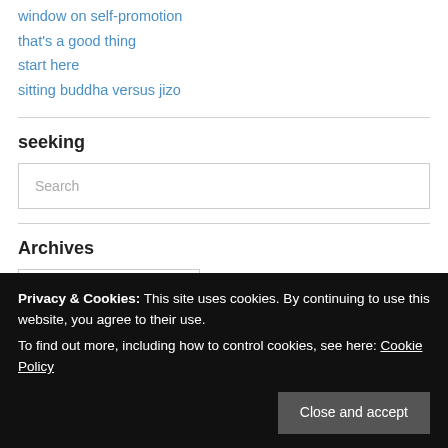window on self-promotion
that's a good thing
start here
sitting buddha versus jizo
seeking
Search
Archives
Select Month
Privacy & Cookies: This site uses cookies. By continuing to use this website, you agree to their use. To find out more, including how to control cookies, see here: Cookie Policy
Close and accept
108Buddhas 108Enso Audrey Seo book review